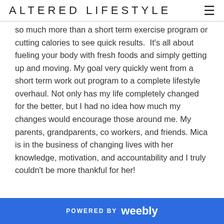ALTERED LIFESTYLE
so much more than a short term exercise program or cutting calories to see quick results.  It's all about fueling your body with fresh foods and simply getting up and moving. My goal very quickly went from a short term work out program to a complete lifestyle overhaul. Not only has my life completely changed for the better, but I had no idea how much my changes would encourage those around me. My parents, grandparents, co workers, and friends. Mica is in the business of changing lives with her knowledge, motivation, and accountability and I truly couldn't be more thankful for her!
POWERED BY weebly